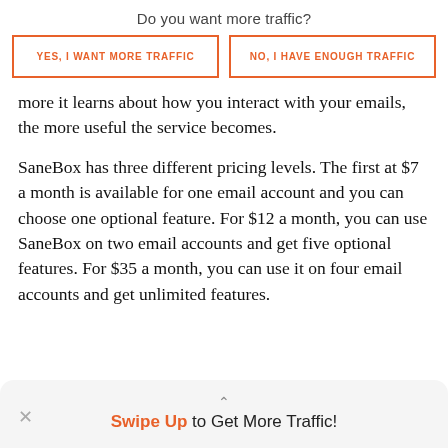Do you want more traffic?
[Figure (other): Two call-to-action buttons side by side: 'YES, I WANT MORE TRAFFIC' and 'NO, I HAVE ENOUGH TRAFFIC', both with orange border and orange uppercase text on white background.]
more it learns about how you interact with your emails, the more useful the service becomes.
SaneBox has three different pricing levels. The first at $7 a month is available for one email account and you can choose one optional feature. For $12 a month, you can use SaneBox on two email accounts and get five optional features. For $35 a month, you can use it on four email accounts and get unlimited features.
Swipe Up to Get More Traffic!